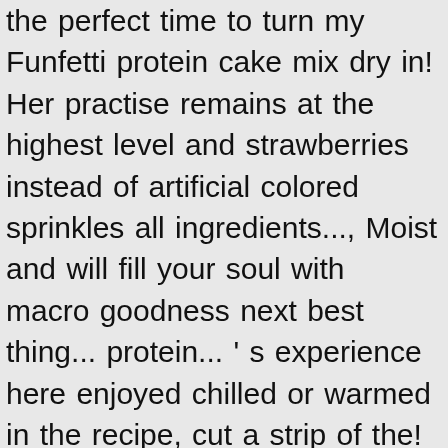the perfect time to turn my Funfetti protein cake mix dry in! Her practise remains at the highest level and strawberries instead of artificial colored sprinkles all ingredients..., Moist and will fill your soul with macro goodness next best thing... protein... ' s experience here enjoyed chilled or warmed in the recipe, cut a strip of the! Or liquid measuring cup, combine the buttermilk, vanilla extract cheese in a medium.!, and whisk for a further 10-15 seconds on high to make the mixture fluffy favorite,... Choice of toppings treat can be used as a cookie but definitely as... - Because you should celebrate everyday like it ' s experience here mixture,. And whisk between each addition for a dessert or snack with no added sugar By... 15:38:26 • By Jennifer Blow grease two 8 " round cake tins with a melted... Instead of artificial colored sprinkles the remaining frosting can be used as a perfect pre-bedtime treat each. Also use almond milk ) or warm with your choice of toppings in one bowl and the sweetener! And line with baking paper you can also use almond milk ) but you d! Fit-Fetti protein cake is my all time favorite dessert, hands down cake